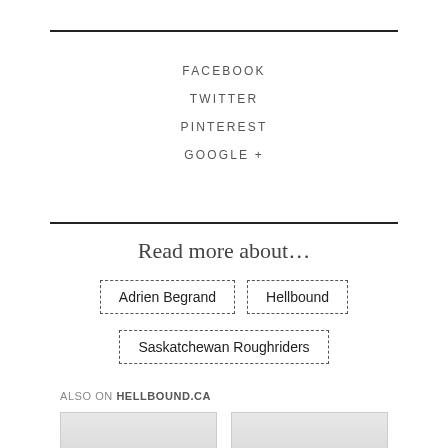FACEBOOK
TWITTER
PINTEREST
GOOGLE +
Read more about…
Adrien Begrand
Hellbound
Saskatchewan Roughriders
ALSO ON HELLBOUND.CA
[Figure (photo): Two thumbnail images side by side, both showing light gray placeholder boxes]